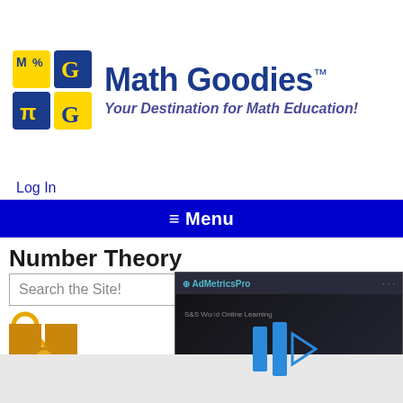[Figure (logo): Math Goodies logo with colorful MG icon and text 'Math Goodies TM - Your Destination for Math Education!']
Log In
≡ Menu
Number Theory
[Figure (screenshot): AdMetricsPro video advertisement overlay showing S&S Worldwide Online Learning with blue play button icons]
Search the Site!
[Figure (logo): Math Goodies small square logo icon with gold/orange grid pattern]
posite numbers,